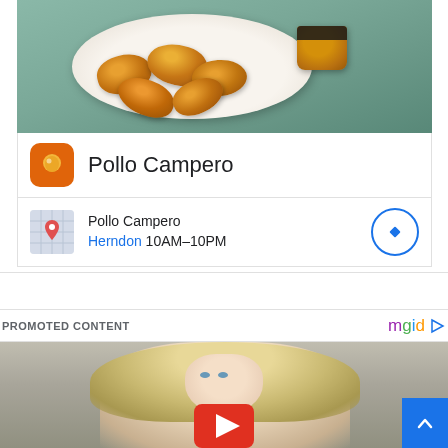[Figure (photo): Google ad card for Pollo Campero restaurant showing fried chicken nuggets with dipping sauce on a plate, with brand logo and location info for Herndon 10AM-10PM]
Pollo Campero
Pollo Campero
Herndon 10AM–10PM
PROMOTED CONTENT
[Figure (photo): Promoted content thumbnail showing a young blonde woman's face (appears to be a celebrity) with a YouTube play button overlay, mgid branding visible]